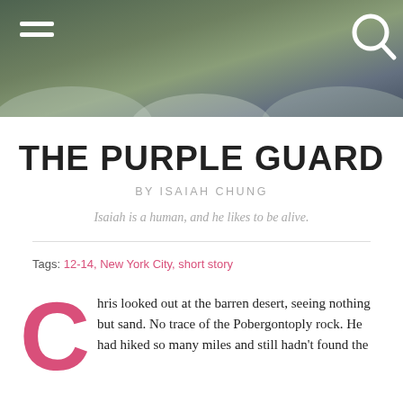[Figure (illustration): Dark green/teal gradient header banner with rounded hill silhouettes at the bottom, hamburger menu icon at top left, and search magnifying glass icon at top right]
THE PURPLE GUARD
BY ISAIAH CHUNG
Isaiah is a human, and he likes to be alive.
Tags: 12-14, New York City, short story
C hris looked out at the barren desert, seeing nothing but sand. No trace of the Pobergontoply rock. He had hiked so many miles and still hadn't found the